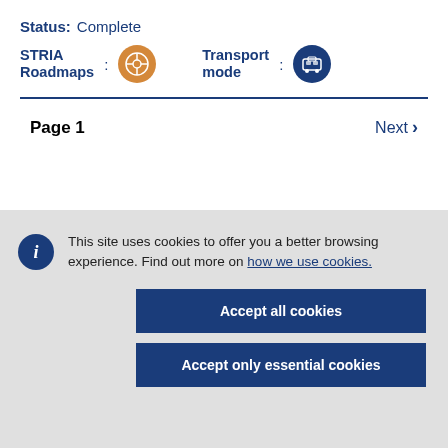Status: Complete
STRIA Roadmaps : [icon] Transport mode : [icon]
Page 1    Next >
This site uses cookies to offer you a better browsing experience. Find out more on how we use cookies.
Accept all cookies
Accept only essential cookies